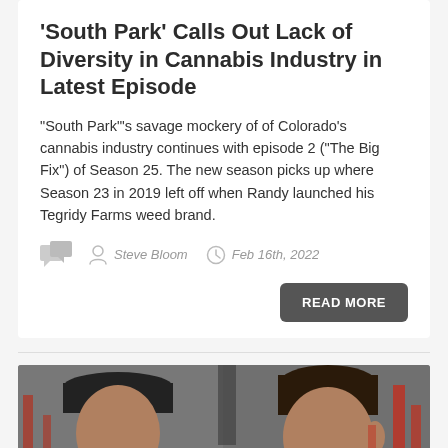'South Park' Calls Out Lack of Diversity in Cannabis Industry in Latest Episode
"South Park"'s savage mockery of of Colorado's cannabis industry continues with episode 2 ("The Big Fix") of Season 25. The new season picks up where Season 23 in 2019 left off when Randy launched his Tegridy Farms weed brand.
Steve Bloom  Feb 16th, 2022
READ MORE
[Figure (photo): Photo of two men, one wearing a black cap, positioned against a background with red structures. Appears to be a film or TV still.]